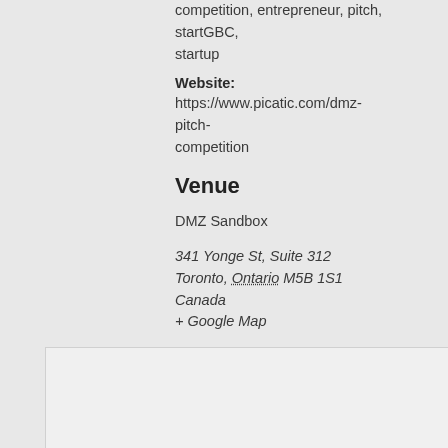competition, entrepreneur, pitch, startGBC, startup
Website: https://www.picatic.com/dmz-pitch-competition
Venue
DMZ Sandbox
341 Yonge St, Suite 312
Toronto, Ontario M5B 1S1 Canada
+ Google Map
[Figure (map): Embedded map placeholder showing DMZ Sandbox location at 341 Yonge St, Suite 312, Toronto, Ontario]